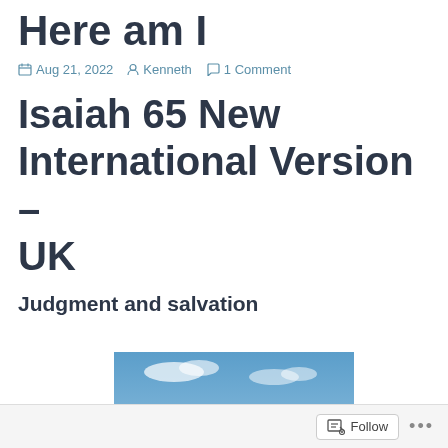Here am I
Aug 21, 2022  Kenneth  1 Comment
Isaiah 65 New International Version – UK
Judgment and salvation
[Figure (photo): Outdoor photo showing blue sky with clouds and stone structures at the bottom]
Follow ...